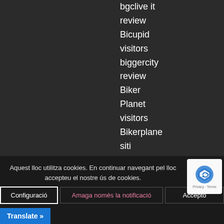bgclive it review
Bicupid visitors
biggercity review
Biker Planet visitors
Bikerplane siti
incontri single
canada free
sites
Aquest lloc utilitza cookies. En continuar navegant pel lloc accepteu el nostre ús de cookies.
Configuració | Amaga només la notificació | Accepto
Translate »